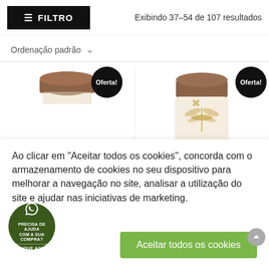≡ FILTRO    Exibindo 37–54 de 107 resultados
Ordenação padrão ∨
[Figure (photo): Product card with brown-lidded jar, 'Oferta!' badge (left)]
[Figure (photo): Product card with cream jar with dragonfly design and brown lid, 'Oferta!' badge, name: Parceria com e Luca – 180g, price: R$99,00 (right)]
Ao clicar em "Aceitar todos os cookies", concorda com o armazenamento de cookies no seu dispositivo para melhorar a navegação no site, analisar a utilização do site e ajudar nas iniciativas de marketing.
Aceitar todos os cookies
PRECISA DE AJUDA COM A SUA COMPRA? CLIQUE AQUI!
Parceria com e Luca – 180g
R$120,00 R$99,00
R$120,00 R$55,00